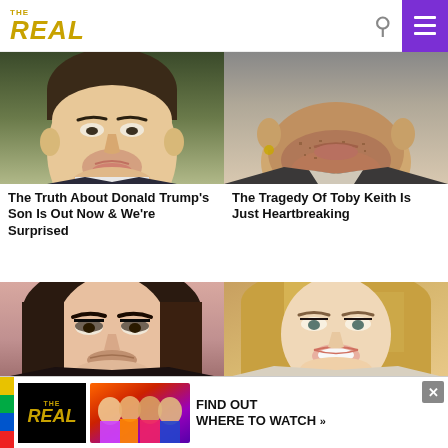THE REAL
[Figure (photo): Close-up photo of a young man's face (Barron Trump), dark hair, light skin, white collar visible]
The Truth About Donald Trump's Son Is Out Now & We're Surprised
[Figure (photo): Close-up photo of a man's lower face with stubble beard (Toby Keith)]
The Tragedy Of Toby Keith Is Just Heartbreaking
[Figure (photo): Photo of a woman with long dark brown hair, heavy eye makeup (Teresa Giudice)]
Tragic
[Figure (photo): Photo of a smiling blonde woman (Blake Lively)]
The
[Figure (other): Advertisement banner for The Real TV show - FIND OUT WHERE TO WATCH with colorful host photos and The Real logo]